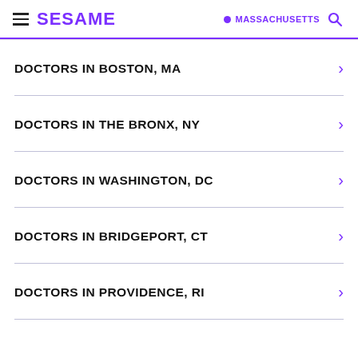SESAME | MASSACHUSETTS
DOCTORS IN BOSTON, MA
DOCTORS IN THE BRONX, NY
DOCTORS IN WASHINGTON, DC
DOCTORS IN BRIDGEPORT, CT
DOCTORS IN PROVIDENCE, RI